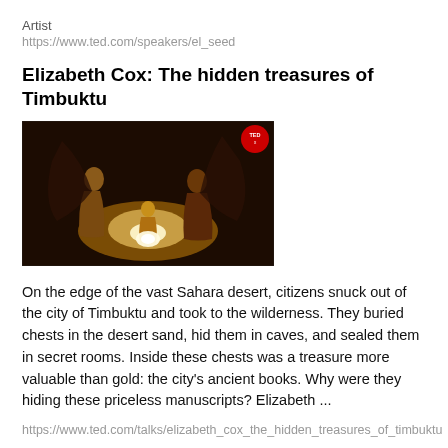Artist
https://www.ted.com/speakers/el_seed
Elizabeth Cox: The hidden treasures of Timbuktu
[Figure (photo): Thumbnail image for TED talk: artistic illustration of figures (adults and a child) gathered around a glowing light, on a warm brown background, with a red TEDx badge in the top right corner.]
On the edge of the vast Sahara desert, citizens snuck out of the city of Timbuktu and took to the wilderness. They buried chests in the desert sand, hid them in caves, and sealed them in secret rooms. Inside these chests was a treasure more valuable than gold: the city's ancient books. Why were they hiding these priceless manuscripts? Elizabeth ...
https://www.ted.com/talks/elizabeth_cox_the_hidden_treasures_of_timbuktu
The beauty of calligraphy, the power of street